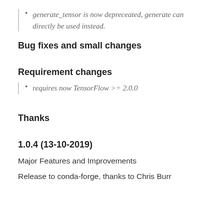generate_tensor is now depreceated, generate can directly be used instead.
Bug fixes and small changes
Requirement changes
requires now TensorFlow >= 2.0.0
Thanks
1.0.4 (13-10-2019)
Major Features and Improvements
Release to conda-forge, thanks to Chris Burr